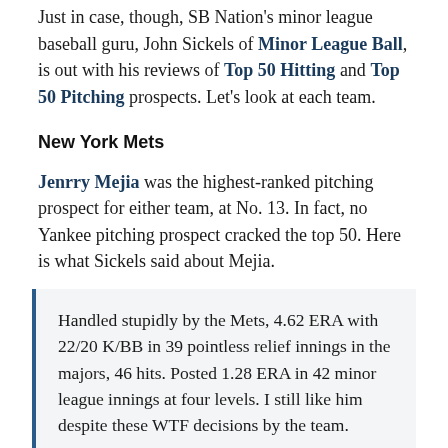Just in case, though, SB Nation's minor league baseball guru, John Sickels of Minor League Ball, is out with his reviews of Top 50 Hitting and Top 50 Pitching prospects. Let's look at each team.
New York Mets
Jenrry Mejia was the highest-ranked pitching prospect for either team, at No. 13. In fact, no Yankee pitching prospect cracked the top 50. Here is what Sickels said about Mejia.
Handled stupidly by the Mets, 4.62 ERA with 22/20 K/BB in 39 pointless relief innings in the majors, 46 hits. Posted 1.28 ERA in 42 minor league innings at four levels. I still like him despite these WTF decisions by the team.